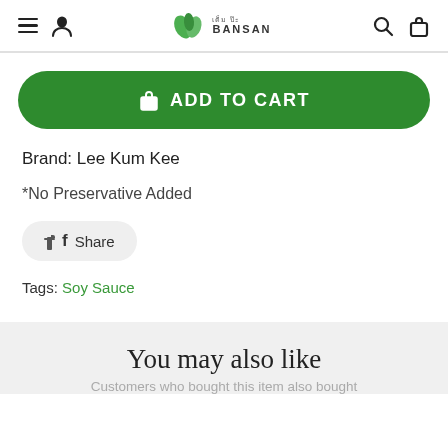BANSAN (logo with leaves)
ADD TO CART
Brand: Lee Kum Kee
*No Preservative Added
Share
Tags: Soy Sauce
You may also like
Customers who bought this item also bought